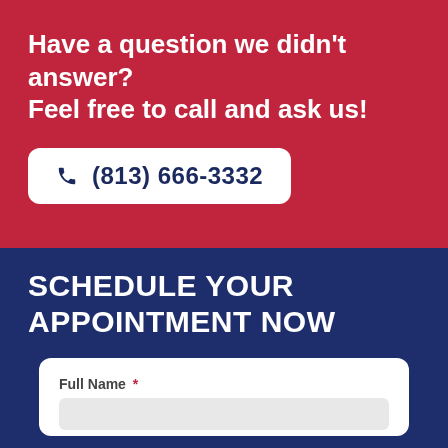Have a question we didn't answer? Feel free to call and ask us!
(813) 666-3332
SCHEDULE YOUR APPOINTMENT NOW
Full Name *